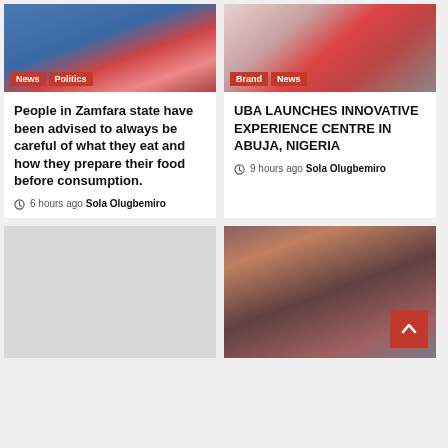[Figure (photo): Photo of a person in blue attire, partially visible]
News | Politics
People in Zamfara state have been advised to always be careful of what they eat and how they prepare their food before consumption.
6 hours ago  Sola Olugbemiro
[Figure (photo): Photo of group of people, flags visible]
Brand | News
UBA LAUNCHES INNOVATIVE EXPERIENCE CENTRE IN ABUJA, NIGERIA
9 hours ago  Sola Olugbemiro
[Figure (photo): Light gray placeholder image]
[Figure (photo): Photo of a bald smiling man in gray/purple attire against a wood-paneled background]